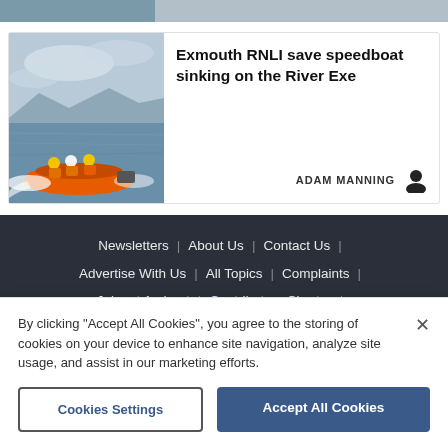[Figure (photo): Top strip showing partial image of water/sea scene]
[Figure (photo): Orange RNLI lifeboat with crew members in yellow and orange gear speeding across choppy water with mountains in background]
Exmouth RNLI save speedboat sinking on the River Exe
ADAM MANNING
Newsletters | About Us | Contact Us | Advertise With Us | All Topics | Complaints | Jobs at Archant | Contributors Charter |
By clicking “Accept All Cookies”, you agree to the storing of cookies on your device to enhance site navigation, analyze site usage, and assist in our marketing efforts.
Cookies Settings
Accept All Cookies